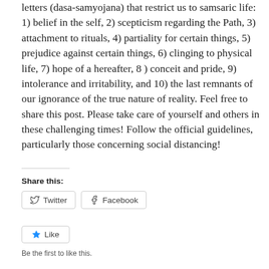letters (dasa-samyojana) that restrict us to samsaric life: 1) belief in the self, 2) scepticism regarding the Path, 3) attachment to rituals, 4) partiality for certain things, 5) prejudice against certain things, 6) clinging to physical life, 7) hope of a hereafter, 8 ) conceit and pride, 9) intolerance and irritability, and 10) the last remnants of our ignorance of the true nature of reality. Feel free to share this post. Please take care of yourself and others in these challenging times! Follow the official guidelines, particularly those concerning social distancing!
Share this:
[Figure (other): Twitter and Facebook share buttons]
[Figure (other): Like button with star icon]
Be the first to like this.